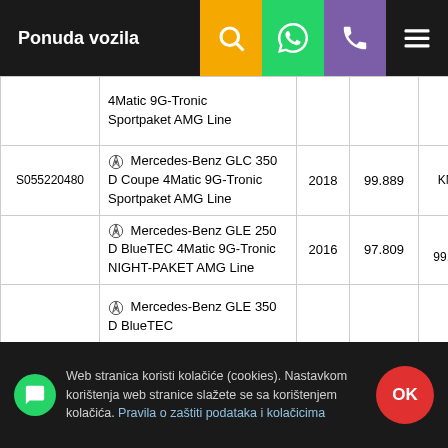Ponuda vozila
| ID | Vozilo | Godina | km | Cijena |
| --- | --- | --- | --- | --- |
|  | Mercedes-Benz GLC 350 D Coupe 4Matic 9G-Tronic Sportpaket AMG Line |  |  |  |
| S055220480 | Mercedes-Benz GLC 350 D Coupe 4Matic 9G-Tronic Sportpaket AMG Line | 2018 | 99.889 | KM 0,00 |
|  | Mercedes-Benz GLE 250 D BlueTEC 4Matic 9G-Tronic NIGHT-PAKET AMG Line | 2016 | 97.809 | KM 99.990,00 |
|  | Mercedes-Benz GLE 350 D BlueTEC ... |  |  |  |
Web stranica koristi kolačiće (cookies). Nastavkom korištenja web stranice slažete se sa korištenjem kolačića. Pravila o zaštiti podataka i kolačicima